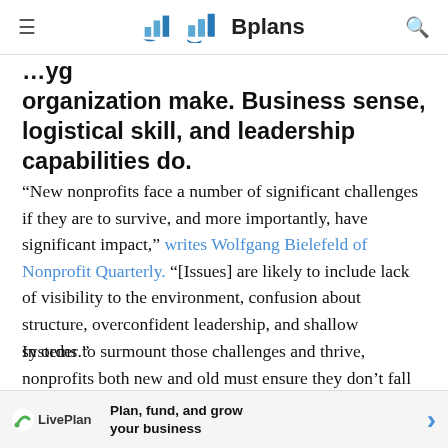Bplans
organization make. Business sense, logistical skill, and leadership capabilities do.
“New nonprofits face a number of significant challenges if they are to survive, and more importantly, have significant impact,” writes Wolfgang Bielefeld of Nonprofit Quarterly. “[Issues] are likely to include lack of visibility to the environment, confusion about structure, overconfident leadership, and shallow systems.”
In order to surmount those challenges and thrive, nonprofits both new and old must ensure they don’t fall into one of these five common traps encountered in their in
[Figure (infographic): LivePlan advertisement banner: LivePlan logo with tagline 'Plan, fund, and grow your business' and a blue arrow]